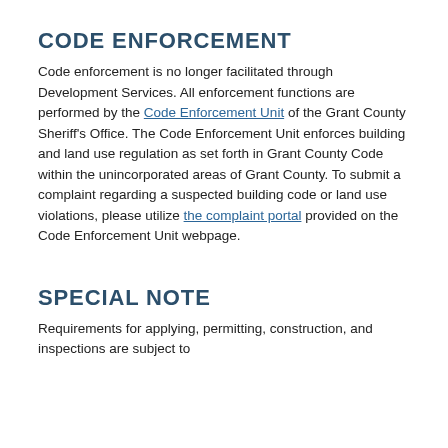CODE ENFORCEMENT
Code enforcement is no longer facilitated through Development Services.  All enforcement functions are performed by the Code Enforcement Unit of the Grant County Sheriff's Office.  The Code Enforcement Unit enforces building and land use regulation as set forth in Grant County Code within the unincorporated areas of Grant County.  To submit a complaint regarding a suspected building code or land use violations, please utilize the complaint portal provided on the Code Enforcement Unit webpage.
SPECIAL NOTE
Requirements for applying, permitting, construction, and inspections are subject to